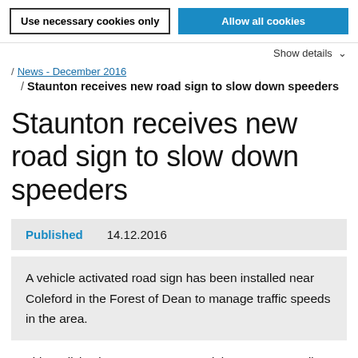Use necessary cookies only | Allow all cookies
Show details
/ News - December 2016
/ Staunton receives new road sign to slow down speeders
Staunton receives new road sign to slow down speeders
Published   14.12.2016
A vehicle activated road sign has been installed near Coleford in the Forest of Dean to manage traffic speeds in the area.
Residents living in Staunton contacted the county council